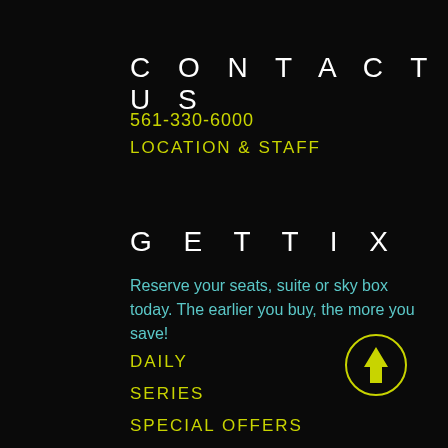CONTACT US
561-330-6000
LOCATION & STAFF
GET TIX
Reserve your seats, suite or sky box today. The earlier you buy, the more you save!
DAILY
SERIES
SPECIAL OFFERS
[Figure (illustration): Yellow circle with upward arrow icon (scroll to top button)]